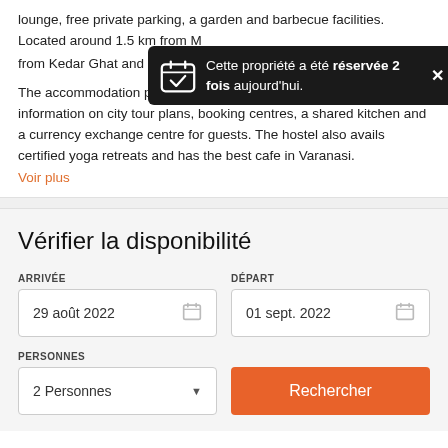lounge, free private parking, a garden and barbecue facilities. Located around 1.5 km from M... from Kedar Ghat and ...
[Figure (screenshot): Dark tooltip/notification overlay: 'Cette propriété a été réservée 2 fois aujourd'hui.' with calendar checkmark icon and X close button]
The accommodation provides free WiFi, a 24-hour front desk with information on city tour plans, booking centres, a shared kitchen and a currency exchange centre for guests. The hostel also avails certified yoga retreats and has the best cafe in Varanasi.
Voir plus
Vérifier la disponibilité
ARRIVÉE
29 août 2022
DÉPART
01 sept. 2022
PERSONNES
2 Personnes
Rechercher